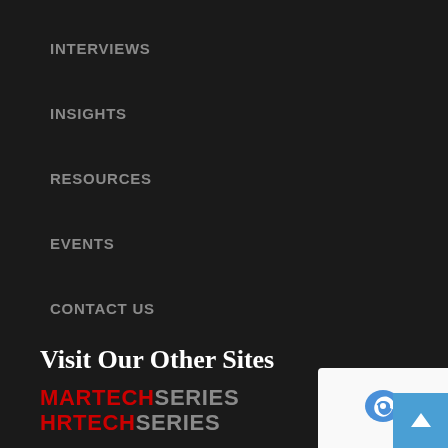INTERVIEWS
INSIGHTS
RESOURCES
EVENTS
CONTACT US
Visit Our Other Sites
MARTECHSERIES
HRTECHSERIES
GLOBALFINTECHSERIES
SALESTECHSERIES